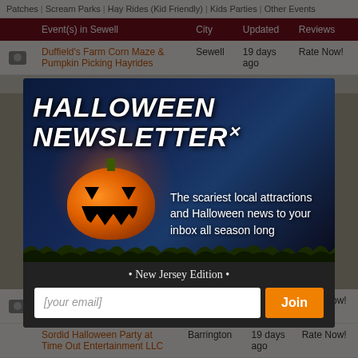Patches | Scream Parks | Hay Rides (Kid Friendly) | Kids Parties | Other Events
| Event(s) in Sewell | City | Updated | Reviews |
| --- | --- | --- | --- |
| Duffield's Farm Corn Maze & Pumpkin Picking Hayrides | Sewell | 19 days ago | Rate Now! |
| Creamy Acres Farm | Mullica Hill | 19 days ago | Rate Now! |
| Sordid Halloween Party at Time Out Entertainment LLC | Barrington | 19 days ago | Rate Now! |
[Figure (screenshot): Halloween Newsletter popup modal overlay with a jack-o-lantern, spooky graveyard background, title 'HALLOWEEN NEWSLETTER' with close X, tagline 'The scariest local attractions and Halloween news to your inbox all season long', '• New Jersey Edition •', email input field with placeholder '[your email]', and orange Join button]